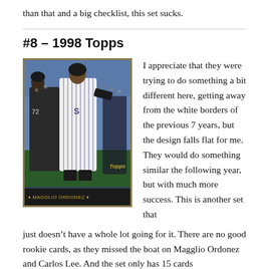than that and a big checklist, this set sucks.
#8 – 1998 Topps
[Figure (photo): A 1998 Topps baseball card showing a Chicago White Sox player in pinstripe uniform, with gold/brown border and Topps logo]
I appreciate that they were trying to do something a bit different here, getting away from the white borders of the previous 7 years, but the design falls flat for me. They would do something similar the following year, but with much more success. This is another set that just doesn't have a whole lot going for it. There are no good rookie cards, as they missed the boat on Magglio Ordonez and Carlos Lee. And the set only has 15 cards